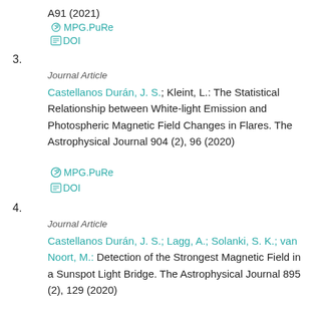A91 (2021)
MPG.PuRe
DOI
3.
Journal Article
Castellanos Durán, J. S.; Kleint, L.: The Statistical Relationship between White-light Emission and Photospheric Magnetic Field Changes in Flares. The Astrophysical Journal 904 (2), 96 (2020)
MPG.PuRe
DOI
4.
Journal Article
Castellanos Durán, J. S.; Lagg, A.; Solanki, S. K.; van Noort, M.: Detection of the Strongest Magnetic Field in a Sunspot Light Bridge. The Astrophysical Journal 895 (2), 129 (2020)